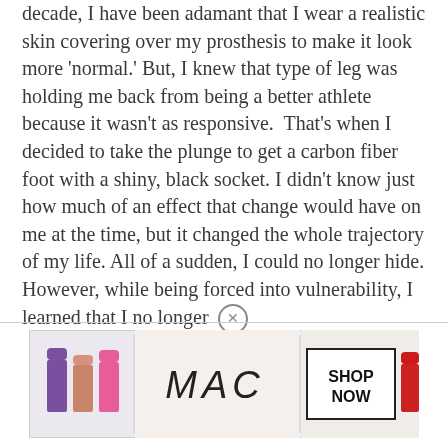decade, I have been adamant that I wear a realistic skin covering over my prosthesis to make it look more 'normal.' But, I knew that type of leg was holding me back from being a better athlete because it wasn't as responsive.  That's when I decided to take the plunge to get a carbon fiber foot with a shiny, black socket. I didn't know just how much of an effect that change would have on me at the time, but it changed the whole trajectory of my life. All of a sudden, I could no longer hide. However, while being forced into vulnerability, I learned that I no longer
[Figure (other): MAC cosmetics advertisement showing colorful lipsticks (purple, pink, rose, red) on the left, MAC logo in italic script in the center-left, a 'SHOP NOW' box in the center-right, and a red lipstick on the right. Ad has a light pinkish-gray background.]